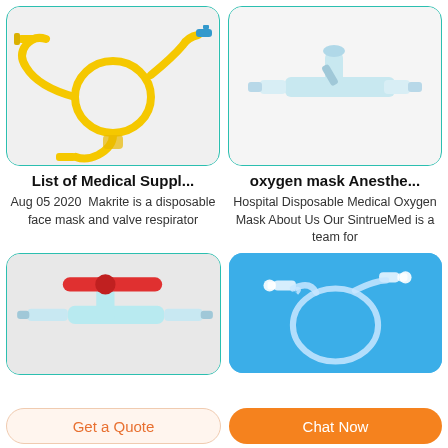[Figure (photo): Yellow IV tubing/drip set with coiled tube and connectors on white background]
[Figure (photo): Light blue medical connector/stopcock device on white background]
List of Medical Suppl...
Aug 05 2020  Makrite is a disposable face mask and valve respirator
oxygen mask Anesthe...
Hospital Disposable Medical Oxygen Mask About Us Our SintrueMed is a team for
[Figure (photo): Red and light blue medical stopcock/valve with T-shape handle on gray background]
[Figure (photo): Clear tubing loop/circuit with white connectors on blue background]
Get a Quote
Chat Now